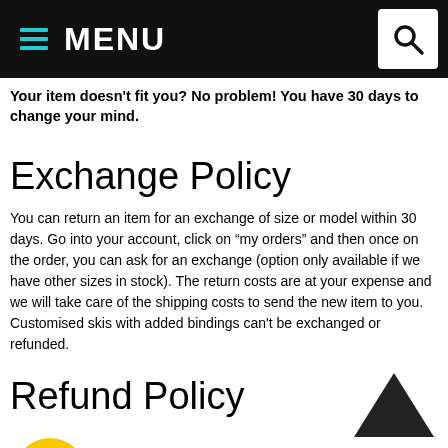MENU
Your item doesn't fit you? No problem! You have 30 days to change your mind.
Exchange Policy
You can return an item for an exchange of size or model within 30 days. Go into your account, click on “my orders” and then once on the order, you can ask for an exchange (option only available if we have other sizes in stock). The return costs are at your expense and we will take care of the shipping costs to send the new item to you.
Customised skis with added bindings can't be exchanged or refunded.
Refund Policy
You can return an item for a refund within 30 days. Go into your account, click on “my orders” and then once on the order, you can ask for a refund.